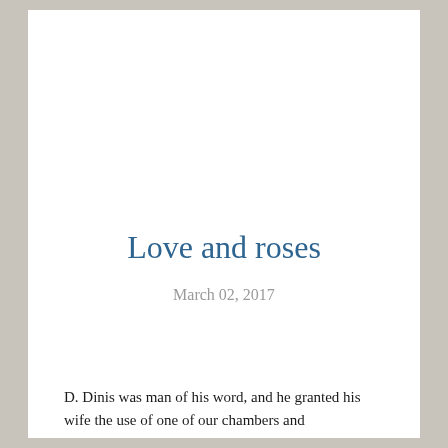Love and roses
March 02, 2017
D. Dinis was man of his word, and he granted his wife the use of one of our chambers and